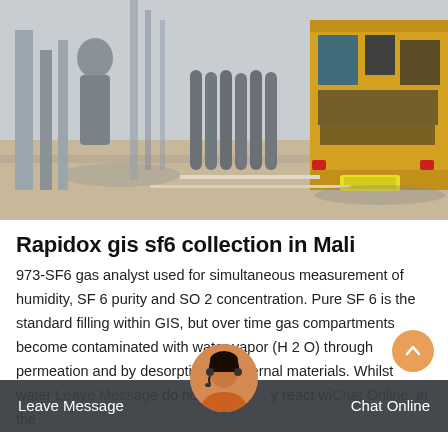[Figure (photo): Industrial site with gas cylinders and a yellow truck loaded with equipment, photographed outdoors at a facility]
Rapidox gis sf6 collection in Mali
973-SF6 gas analyst used for simultaneous measurement of humidity, SF 6 purity and SO 2 concentration. Pure SF 6 is the standard filling within GIS, but over time gas compartments become contaminated with water vapor (H 2 O) through permeation and by desorption from internal materials. Whilst water Leave Message do not normally react with Chat Online, in the